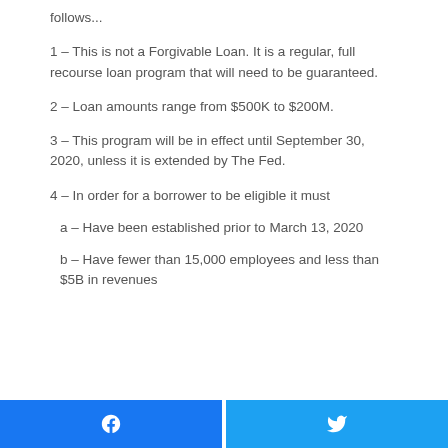follows...
1 – This is not a Forgivable Loan. It is a regular, full recourse loan program that will need to be guaranteed.
2 – Loan amounts range from $500K to $200M.
3 – This program will be in effect until September 30, 2020, unless it is extended by The Fed.
4 – In order for a borrower to be eligible it must
a – Have been established prior to March 13, 2020
b – Have fewer than 15,000 employees and less than $5B in revenues
[Figure (other): Social share buttons: Facebook and Twitter]